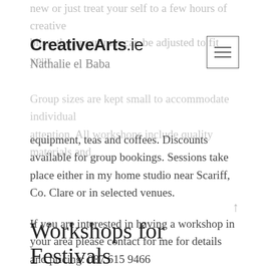new or just treat your self to a few hours of creative bliss. the programm can be adjusted to fit your
CreativeArts.ie  Nathalie el Baba
Group sizes are kept small to accommodate individual attention. All workshops include quality materials and equipment, teas and coffees. Discounts available for group bookings. Sessions take place either in my home studio near Scariff, Co. Clare or in selected venues.
If you are interested in having a workshop in your area please contact for me for details and pricing: 087 615 9466
Workshops for Festivals